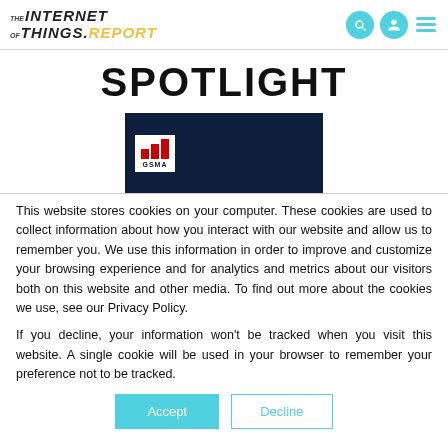THE INTERNET OF THINGS.REPORT [nav icons]
SPOTLIGHT
[Figure (logo): GSMA logo on dark navy blue background]
This website stores cookies on your computer. These cookies are used to collect information about how you interact with our website and allow us to remember you. We use this information in order to improve and customize your browsing experience and for analytics and metrics about our visitors both on this website and other media. To find out more about the cookies we use, see our Privacy Policy.
If you decline, your information won't be tracked when you visit this website. A single cookie will be used in your browser to remember your preference not to be tracked.
Accept  Decline